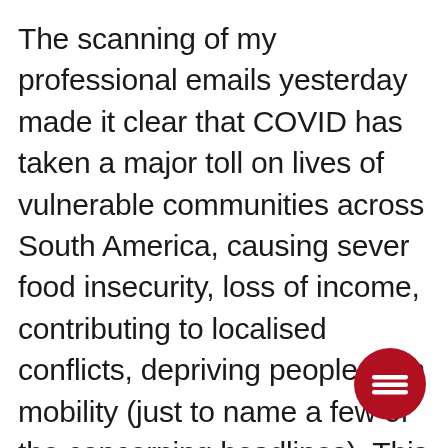The scanning of my professional emails yesterday made it clear that COVID has taken a major toll on lives of vulnerable communities across South America, causing sever food insecurity, loss of income, contributing to localised conflicts, depriving people from mobility (just to name a few of the concerning headlines). This translates into humanitarian sufferings of many literally in all of the countries of Latin America, it is Colombia, Ecuador, Peru, Brazil, Chile and indeed
[Figure (other): Red circular menu button with three horizontal white lines (hamburger icon)]